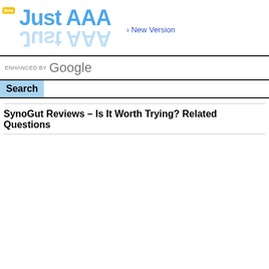[Figure (logo): Just AAA logo in blue text with reflection and a yellow beta badge in top-left corner]
› New Version
[Figure (screenshot): Enhanced by Google search bar with Search button]
SynoGut Reviews – Is It Worth Trying? Related Questions